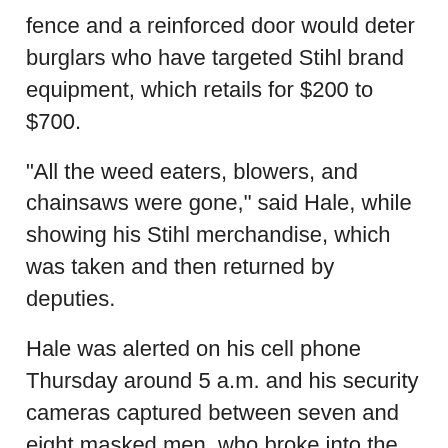fence and a reinforced door would deter burglars who have targeted Stihl brand equipment, which retails for $200 to $700.
"All the weed eaters, blowers, and chainsaws were gone," said Hale, while showing his Stihl merchandise, which was taken and then returned by deputies.
Hale was alerted on his cell phone Thursday around 5 a.m. and his security cameras captured between seven and eight masked men, who broke into the store and swiftly grabbed about four dozen items.
It took them less than three minutes to get out with $15,000 worth of merchandise.
"They used a grinder to break the door locks and gate," said Hale, who is the regional manager for John Deere.